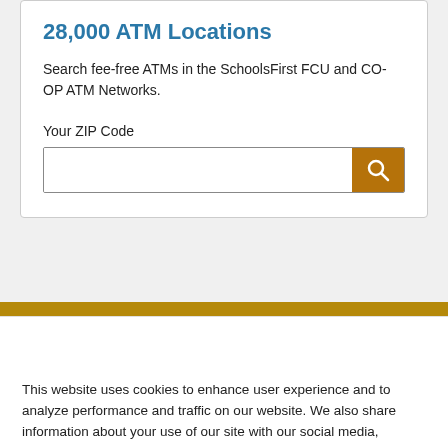28,000 ATM Locations
Search fee-free ATMs in the SchoolsFirst FCU and CO-OP ATM Networks.
Your ZIP Code
[Figure (screenshot): ZIP code search input box with an orange search button containing a magnifying glass icon]
This website uses cookies to enhance user experience and to analyze performance and traffic on our website. We also share information about your use of our site with our social media, advertising and analytics partners. By continuing to use this site, you consent to the placement of these cookies and our Privacy Policy.